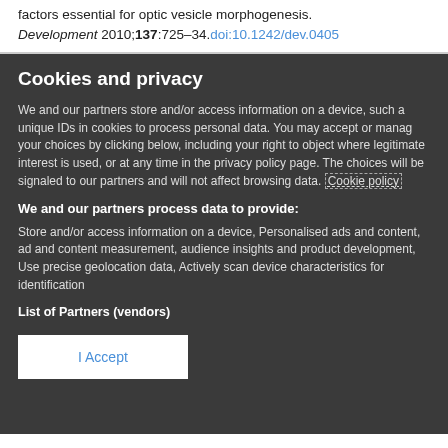factors essential for optic vesicle morphogenesis.
Development 2010;137:725–34. doi:10.1242/dev.0405
Cookies and privacy
We and our partners store and/or access information on a device, such as unique IDs in cookies to process personal data. You may accept or manage your choices by clicking below, including your right to object where legitimate interest is used, or at any time in the privacy policy page. These choices will be signaled to our partners and will not affect browsing data. Cookie policy
We and our partners process data to provide:
Store and/or access information on a device, Personalised ads and content, ad and content measurement, audience insights and product development, Use precise geolocation data, Actively scan device characteristics for identification
List of Partners (vendors)
I Accept